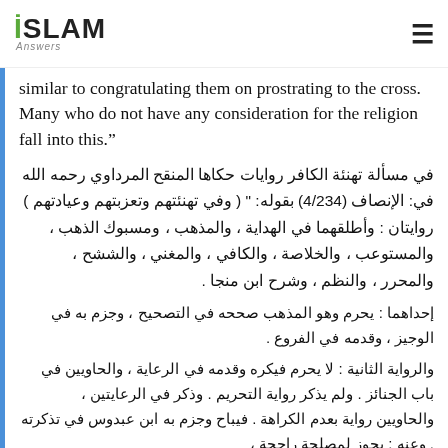ISLAM Answers
similar to congratulating them on prostrating to the cross. Many who do not have any consideration for the religion fall into this.”
في مسألة تهنئة الكافر روايات حكاها المنح المرداوي رحمه الله في: الإنصاف (4/234) بقوله: “ ( وفي تهنئتهم وتعزبتهم وعيادتهم ) روايتان : وأطلقهما في الهداية ، والمذهب ، ومسبوك الذهب ، والمستوعب ، والخلاصة ، والكافي ، والمغني ، والششح ، والمحرر ، والنظم ، وشرح ابن منجا .
إحداهما : يحرم وهو المذهب صححه في التصحيح ، وجزم به في الوجيز ، وقدمه في الفروع .
والرواية الثانية : لا يحرم فيكره وقدمه في الرعاية ، والحاويين في باب الجنائز . ولم يذكر رواية التحريم . وذكر في الرعايتين ، والحاويين رواية بعدم الكراهة . فيباح وجزم به ابن عبدوس في تذكرته . وعنه : يجوز لمصلحة راجحة ،